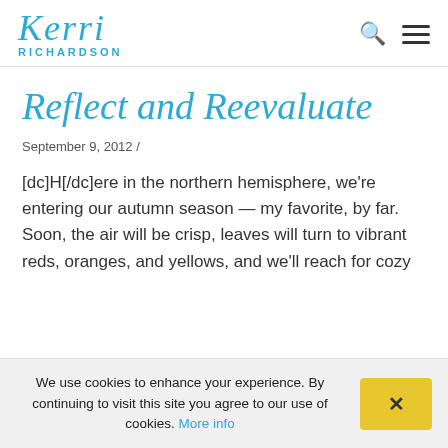Kerri Richardson — logo with search and menu icons
Reflect and Reevaluate
September 9, 2012 /
[dc]H[/dc]ere in the northern hemisphere, we're entering our autumn season — my favorite, by far. Soon, the air will be crisp, leaves will turn to vibrant reds, oranges, and yellows, and we'll reach for cozy
We use cookies to enhance your experience. By continuing to visit this site you agree to our use of cookies. More info